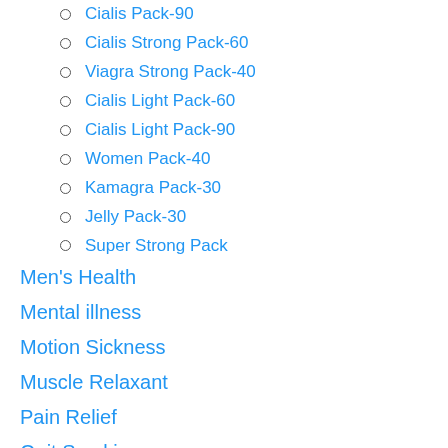Cialis Pack-90
Cialis Strong Pack-60
Viagra Strong Pack-40
Cialis Light Pack-60
Cialis Light Pack-90
Women Pack-40
Kamagra Pack-30
Jelly Pack-30
Super Strong Pack
Men's Health
Mental illness
Motion Sickness
Muscle Relaxant
Pain Relief
Quit Smoking
Skin Care
Sleeping Aids
Weight loss
Women's Health